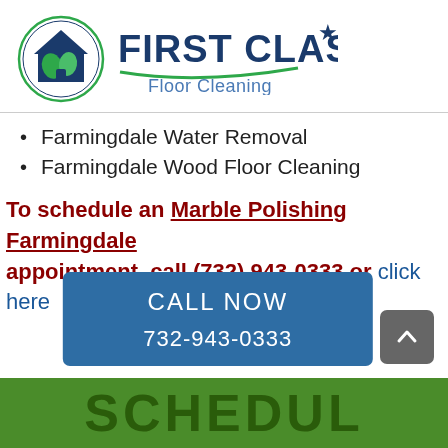[Figure (logo): First Class Floor Cleaning logo with circular icon showing a house and cleaning brushes in blue/green, and company name in dark blue with green swoosh underline]
Farmingdale Water Removal
Farmingdale Wood Floor Cleaning
To schedule an Marble Polishing Farmingdale appointment, call (732) 943-0333 or click here
[Figure (screenshot): Blue Call Now button with phone number 732-943-0333]
SCHEDULE